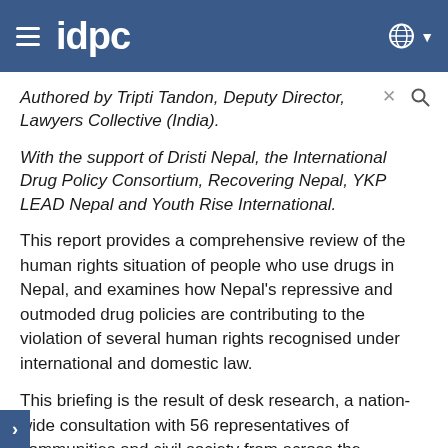idpc
Authored by Tripti Tandon, Deputy Director, Lawyers Collective (India).
With the support of Dristi Nepal, the International Drug Policy Consortium, Recovering Nepal, YKP LEAD Nepal and Youth Rise International.
This report provides a comprehensive review of the human rights situation of people who use drugs in Nepal, and examines how Nepal’s repressive and outmoded drug policies are contributing to the violation of several human rights recognised under international and domestic law.
This briefing is the result of desk research, a nation-wide consultation with 56 representatives of communities and civil society from across the country, as well as from across the…